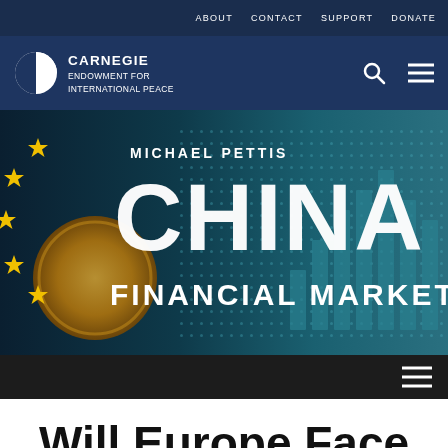ABOUT  CONTACT  SUPPORT  DONATE
[Figure (logo): Carnegie Endowment for International Peace logo with globe icon and navigation icons (search, hamburger menu)]
[Figure (illustration): Michael Pettis China Financial Markets banner image with EU stars, gold coin, and digital market display background. Text reads: MICHAEL PETTIS CHINA FINANCIAL MARKETS]
Will Europe Face Defaults?